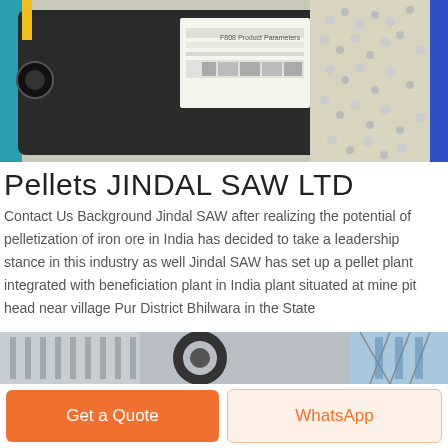[Figure (photo): Industrial machinery photo showing pelletizing equipment with small white pellets in the background and a specification sheet visible on the machine.]
Pellets JINDAL SAW LTD
Contact Us Background Jindal SAW after realizing the potential of pelletization of iron ore in India has decided to take a leadership stance in this industry as well Jindal SAW has set up a pellet plant integrated with beneficiation plant in India plant situated at mine pit head near village Pur District Bhilwara in the State
MORE
[Figure (photo): Industrial facility photo showing pipes, structures and mechanical components.]
Get a Quote
WhatsApp